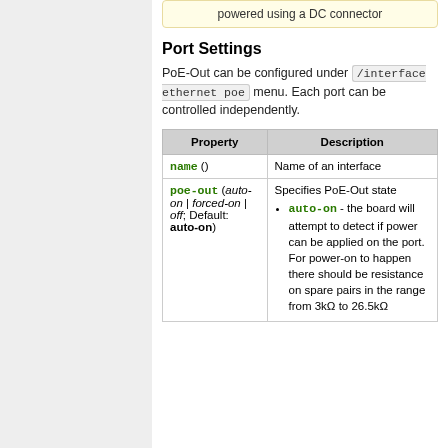powered using a DC connector
Port Settings
PoE-Out can be configured under /interface ethernet poe menu. Each port can be controlled independently.
| Property | Description |
| --- | --- |
| name () | Name of an interface |
| poe-out (auto-on | forced-on | off; Default: auto-on) | Specifies PoE-Out state
auto-on - the board will attempt to detect if power can be applied on the port. For power-on to happen there should be resistance on spare pairs in the range from 3kΩ to 26.5kΩ |